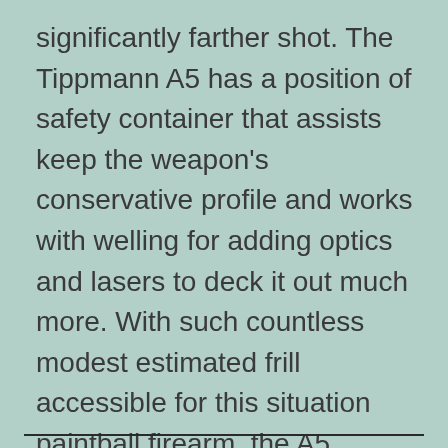significantly farther shot. The Tippmann A5 has a position of safety container that assists keep the weapon's conservative profile and works with welling for adding optics and lasers to deck it out much more. With such countless modest estimated frill accessible for this situation paintball firearm, the A5 makes the best base marker for fostering your own strategic creation for very fun, practical woodsball battle.